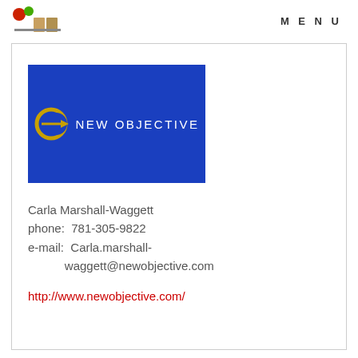[Figure (logo): Small decorative icon with colored circles and flag-like shapes]
MENU
[Figure (logo): New Objective company logo — blue rectangle with golden crescent arrow icon and white text 'NEW OBJECTIVE']
Carla Marshall-Waggett
phone: 781-305-9822
e-mail: Carla.marshall-waggett@newobjective.com
http://www.newobjective.com/